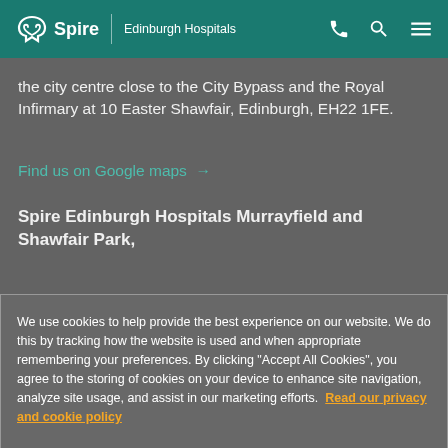Spire | Edinburgh Hospitals
the city centre close to the City Bypass and the Royal Infirmary at 10 Easter Shawfair, Edinburgh, EH22 1FE.
Find us on Google maps →
Spire Edinburgh Hospitals Murrayfield and Shawfair Park,
We use cookies to help provide the best experience on our website. We do this by tracking how the website is used and when appropriate remembering your preferences. By clicking "Accept All Cookies", you agree to the storing of cookies on your device to enhance site navigation, analyze site usage, and assist in our marketing efforts. Read our privacy and cookie policy
Cookies Settings
Accept All Cookies